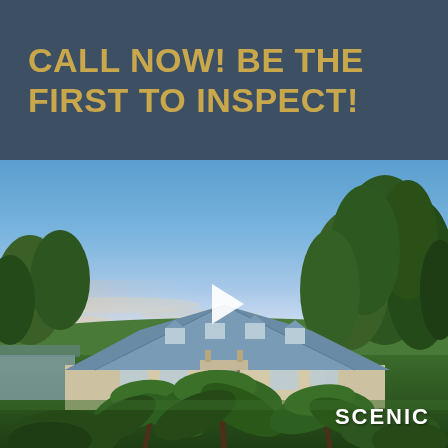CALL NOW! BE THE FIRST TO INSPECT!
[Figure (photo): Aerial/drone photograph of a large residential property with a distinctive blue metal roof, surrounded by lush green lawns, palm trees in the foreground, and dense eucalyptus trees in the background under a blue sky at dusk. A video play button overlay is visible in the center. SCENIC watermark in bottom right corner.]